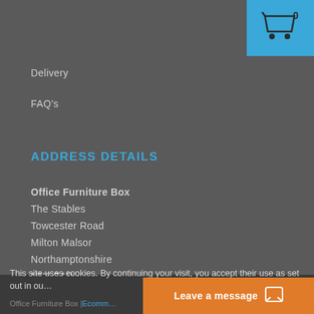[Figure (screenshot): Shopping cart icon with count 0 on blue background, top-right corner]
Delivery
FAQ's
ADDRESS DETAILS
Office Furniture Box
The Stables
Towcester Road
Milton Malsor
Northamptonshire
NN6 7AP

Tel: 020 7096 9385

Mon - Fri: 9am - 5pm
Sat & Sun: Closed
This site uses cookies. By continuing your visit, you accept their use as set out in ou...
Office Furniture Box | Ecomm... Leave a message